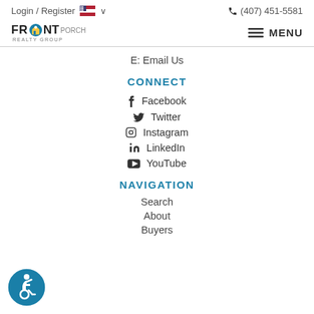Login / Register  🇺🇸 ∨    📞 (407) 451-5581
[Figure (logo): Front Porch Realty Group logo with house icon]
E: Email Us
CONNECT
Facebook
Twitter
Instagram
LinkedIn
YouTube
NAVIGATION
Search
About
Buyers
[Figure (illustration): Wheelchair accessibility icon in teal circle]